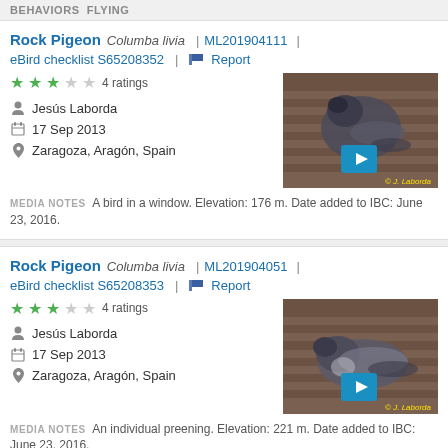BEHAVIORS Flying
Rock Pigeon  Columba livia  |  ML201904111  |
eBird checklist S65208352  |  Report
4 ratings
Jesús Laborda
17 Sep 2013
Zaragoza, Aragón, Spain
[Figure (photo): Rock Pigeon video thumbnail showing a pigeon on a wooden surface, with blue play button and copyright © J. Laborda]
MEDIA NOTES  A bird in a window. Elevation: 176 m. Date added to IBC: June 23, 2016.
Rock Pigeon  Columba livia  |  ML201904051  |
eBird checklist S65208353  |  Report
4 ratings
Jesús Laborda
17 Sep 2013
Zaragoza, Aragón, Spain
[Figure (photo): Rock Pigeon video thumbnail showing a pigeon preening on a wooden surface, with blue play button and copyright © J. Laborda]
MEDIA NOTES  An individual preening. Elevation: 221 m. Date added to IBC: June 23, 2016.